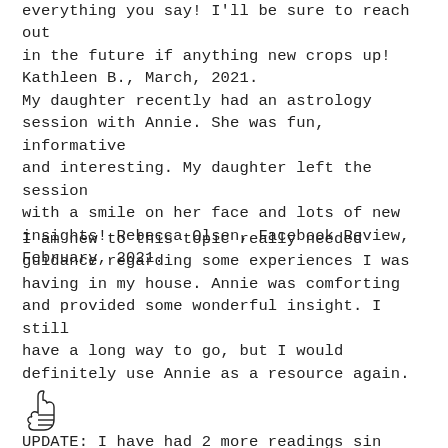everything you say! I'll be sure to reach out in the future if anything new crops up! Kathleen B., March, 2021.
My daughter recently had an astrology session with Annie. She was fun, informative and interesting. My daughter left the session with a smile on her face and lots of new insights! Rebecca Olsen, Facebook Review, February, 2021.
I am new to this topic really needed guidance regarding some experiences I was having in my house. Annie was comforting and provided some wonderful insight. I still have a long way to go, but I would definitely use Annie as a resource again. UPDATE: I have had 2 more readings since this review about different things and Annie continues to be wonderful! She has a very kind disposition and seems to genuinely care about her clients and how they will take in the information they provide. A. M.